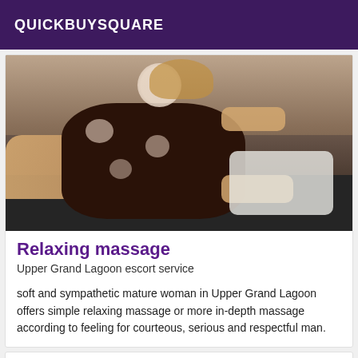QUICKBUYSQUARE
[Figure (photo): A woman in a dark floral dress reclining on a dark sofa, face blurred for privacy]
Relaxing massage
Upper Grand Lagoon escort service
soft and sympathetic mature woman in Upper Grand Lagoon offers simple relaxing massage or more in-depth massage according to feeling for courteous, serious and respectful man.